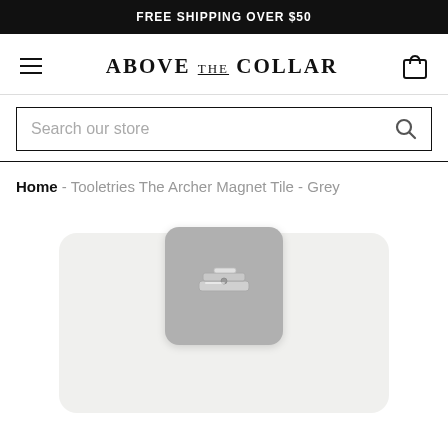FREE SHIPPING OVER $50
[Figure (logo): Above The Collar store logo with hamburger menu and cart icon]
Search our store
Home - Tooletries The Archer Magnet Tile - Grey
[Figure (photo): Tooletries The Archer Magnet Tile in Grey - small grey square tile with nail clipper on rounded grey background]